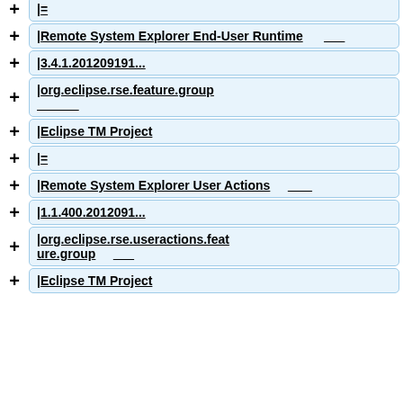|=
|Remote System Explorer End-User Runtime
|3.4.1.201209191...
|org.eclipse.rse.feature.group
|Eclipse TM Project
|=
|Remote System Explorer User Actions
|1.1.400.2012091...
|org.eclipse.rse.useractions.feature.group
|Eclipse TM Project